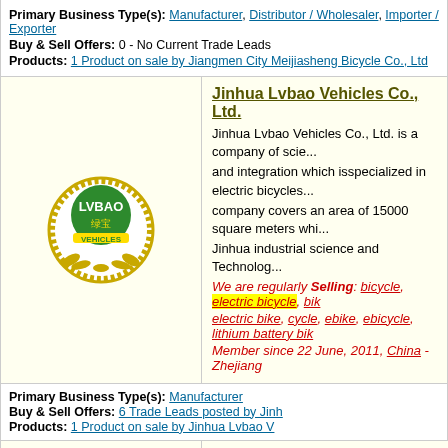Primary Business Type(s): Manufacturer, Distributor / Wholesaler, Importer / Exporter
Buy & Sell Offers: 0 - No Current Trade Leads
Products: 1 Product on sale by Jiangmen City Meijiasheng Bicycle Co., Ltd
Jinhua Lvbao Vehicles Co., Ltd.
Jinhua Lvbao Vehicles Co., Ltd. is a company of science and integration which isspecialized in electric bicycles. The company covers an area of 15000 square meters which is in Jinhua industrial science and Technolog...
We are regularly Selling: bicycle, electric bicycle, bike, electric bike, cycle, ebike, ebicycle, lithium battery bike,
Member since 22 June, 2011, China - Zhejiang
Primary Business Type(s): Manufacturer
Buy & Sell Offers: 6 Trade Leads posted by Jinh
Products: 1 Product on sale by Jinhua Lvbao V
Changzhou U
Changzhou U... foreign trade... established in... Our main pro...
We are regul... tricycles, batt... import and e... Member since...
Join 650,000+ B
Need more B
Email Address
Get More B
Primary Business Type(s): Trading Company
Buy & Sell Offers: 0 - No Current Trade Leads
Products: 1 Product on sale by Changzhou Uni